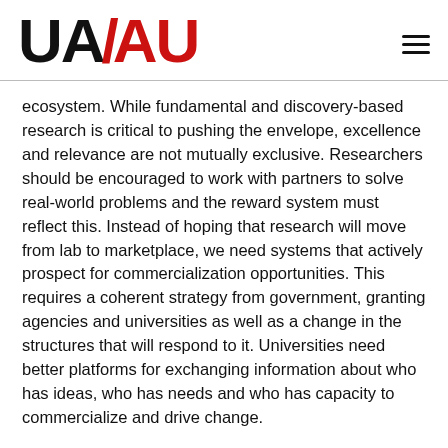[Figure (logo): UA/AU logo in black and red with hamburger menu icon]
ecosystem. While fundamental and discovery-based research is critical to pushing the envelope, excellence and relevance are not mutually exclusive. Researchers should be encouraged to work with partners to solve real-world problems and the reward system must reflect this. Instead of hoping that research will move from lab to marketplace, we need systems that actively prospect for commercialization opportunities. This requires a coherent strategy from government, granting agencies and universities as well as a change in the structures that will respond to it. Universities need better platforms for exchanging information about who has ideas, who has needs and who has capacity to commercialize and drive change.